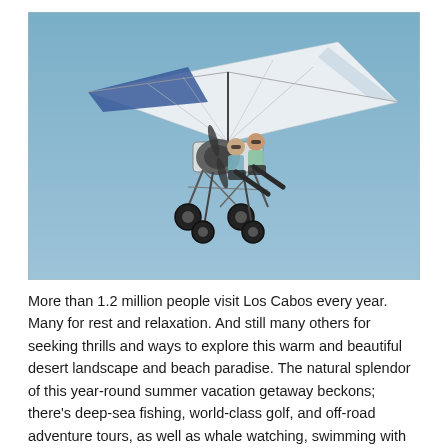[Figure (photo): An ultralight aircraft (trike/hang glider with engine) with two passengers flying against a clear blue sky. The aircraft has a white and blue delta wing, a visible engine with propeller, and wheeled undercarriage. Two people are seated in the open frame.]
More than 1.2 million people visit Los Cabos every year. Many for rest and relaxation. And still many others for seeking thrills and ways to explore this warm and beautiful desert landscape and beach paradise. The natural splendor of this year-round summer vacation getaway beckons; there's deep-sea fishing, world-class golf, and off-road adventure tours, as well as whale watching, swimming with dolphins, aerial tours, and more.